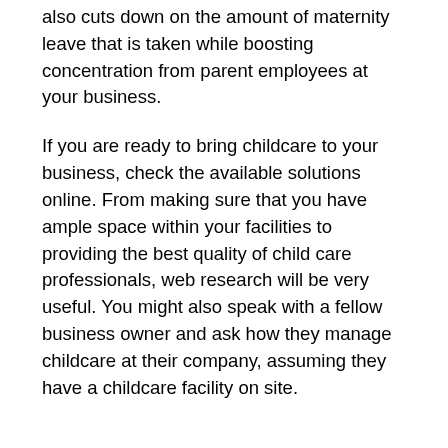also cuts down on the amount of maternity leave that is taken while boosting concentration from parent employees at your business.
If you are ready to bring childcare to your business, check the available solutions online. From making sure that you have ample space within your facilities to providing the best quality of child care professionals, web research will be very useful. You might also speak with a fellow business owner and ask how they manage childcare at their company, assuming they have a childcare facility on site.